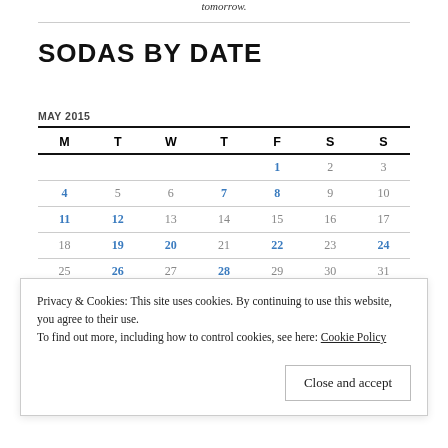tomorrow.
SODAS BY DATE
| M | T | W | T | F | S | S |
| --- | --- | --- | --- | --- | --- | --- |
|  |  |  |  | 1 | 2 | 3 |
| 4 | 5 | 6 | 7 | 8 | 9 | 10 |
| 11 | 12 | 13 | 14 | 15 | 16 | 17 |
| 18 | 19 | 20 | 21 | 22 | 23 | 24 |
| 25 | 26 | 27 | 28 | 29 | 30 | 31 |
« Apr
Privacy & Cookies: This site uses cookies. By continuing to use this website, you agree to their use. To find out more, including how to control cookies, see here: Cookie Policy
Close and accept